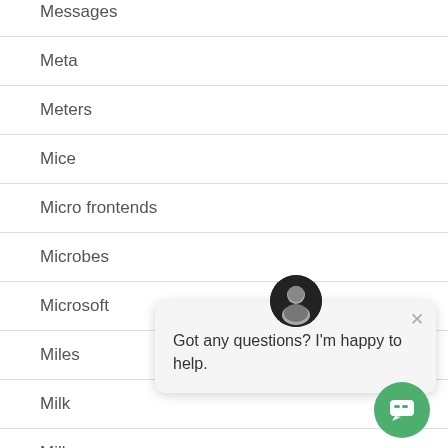Messages
Meta
Meters
Mice
Micro frontends
Microbes
Microsoft
Miles
Milk
Milky
Million
[Figure (screenshot): Chat popup widget with avatar photo and message 'Got any questions? I'm happy to help.' plus a green chat button in the bottom right corner.]